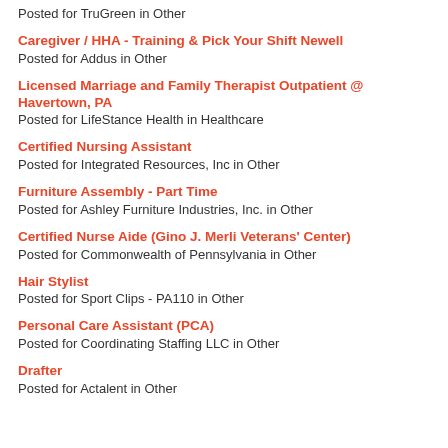Posted for TruGreen in Other
Caregiver / HHA - Training & Pick Your Shift Newell
Posted for Addus in Other
Licensed Marriage and Family Therapist Outpatient @ Havertown, PA
Posted for LifeStance Health in Healthcare
Certified Nursing Assistant
Posted for Integrated Resources, Inc in Other
Furniture Assembly - Part Time
Posted for Ashley Furniture Industries, Inc. in Other
Certified Nurse Aide (Gino J. Merli Veterans' Center)
Posted for Commonwealth of Pennsylvania in Other
Hair Stylist
Posted for Sport Clips - PA110 in Other
Personal Care Assistant (PCA)
Posted for Coordinating Staffing LLC in Other
Drafter
Posted for Actalent in Other